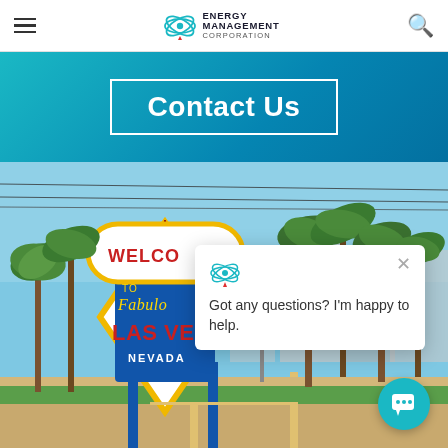Energy Management Corporation — navigation bar with hamburger menu and search icon
Contact Us
[Figure (photo): Photo of the Welcome to Fabulous Las Vegas, Nevada sign with palm trees and blue sky background]
Got any questions? I'm happy to help.